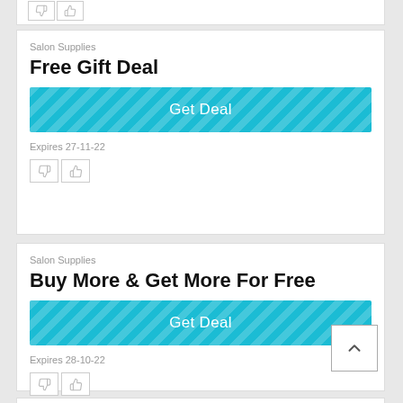Salon Supplies
Free Gift Deal
[Figure (other): Get Deal button with teal diagonal stripe pattern]
Expires 27-11-22
[Figure (other): Thumbs down and thumbs up rating buttons]
Salon Supplies
Buy More & Get More For Free
[Figure (other): Get Deal button with teal diagonal stripe pattern]
Expires 28-10-22
[Figure (other): Thumbs down and thumbs up rating buttons]
[Figure (other): Back to top chevron button]